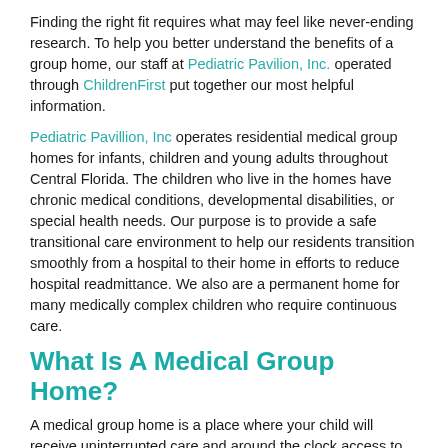Finding the right fit requires what may feel like never-ending research. To help you better understand the benefits of a group home, our staff at Pediatric Pavilion, Inc. operated through ChildrenFirst put together our most helpful information.
Pediatric Pavillion, Inc operates residential medical group homes for infants, children and young adults throughout Central Florida. The children who live in the homes have chronic medical conditions, developmental disabilities, or special health needs. Our purpose is to provide a safe transitional care environment to help our residents transition smoothly from a hospital to their home in efforts to reduce hospital readmittance. We also are a permanent home for many medically complex children who require continuous care.
What Is A Medical Group Home?
A medical group home is a place where your child will receive uninterrupted care and around the clock access to medical staff or a trained care giver. Depending on the type of care your child requires, their needs will be met